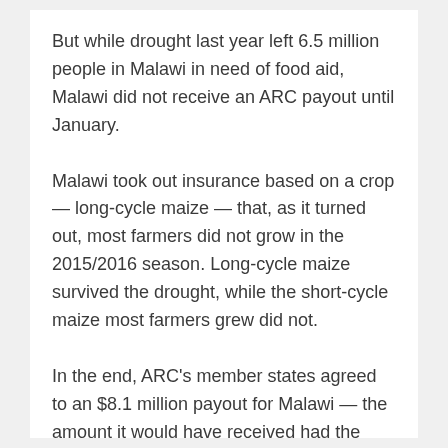But while drought last year left 6.5 million people in Malawi in need of food aid, Malawi did not receive an ARC payout until January.
Malawi took out insurance based on a crop — long-cycle maize — that, as it turned out, most farmers did not grow in the 2015/2016 season. Long-cycle maize survived the drought, while the short-cycle maize most farmers grew did not.
In the end, ARC's member states agreed to an $8.1 million payout for Malawi — the amount it would have received had the government requested short-cycle maize as the base.